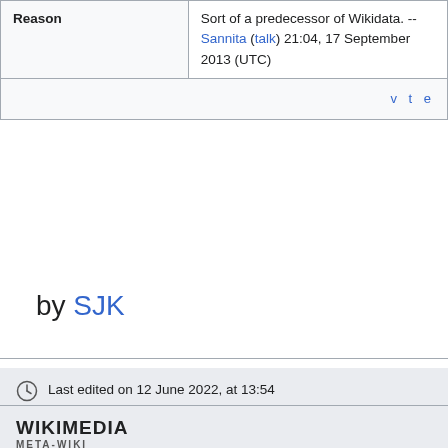| Status | Rejected |
| --- | --- |
| Reason | Sort of a predecessor of Wikidata. --Sannita (talk) 21:04, 17 September 2013 (UTC) |
|  | v t e |
by SJK
Last edited on 12 June 2022, at 13:54
[Figure (logo): Wikimedia Meta-Wiki logo]
Content is available under CC BY-SA 3.0 unless otherwise